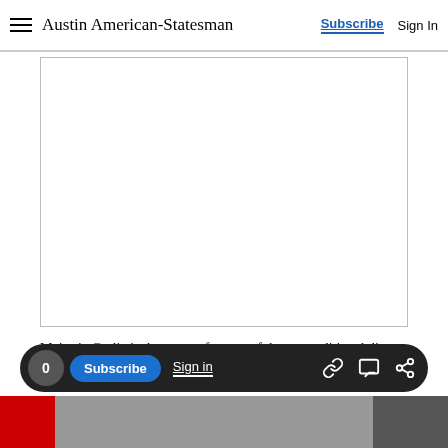Austin American-Statesman
[Figure (other): Blank white advertisement placeholder box with a thin border]
Majestic Garlic is the name of a powerful ga… traditional dip from Lebanon. Addie Broyle…
0 Subscribe Sign in